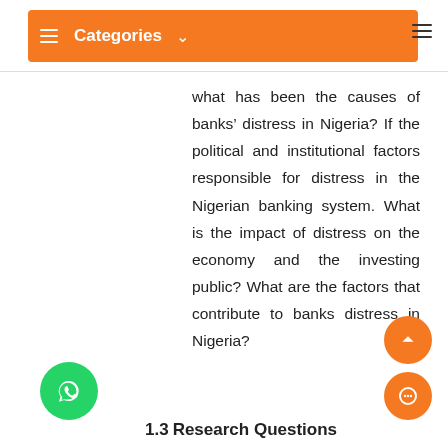Categories
what has been the causes of banks' distress in Nigeria? If the political and institutional factors responsible for distress in the Nigerian banking system. What is the impact of distress on the economy and the investing public? What are the factors that contribute to banks distress in Nigeria?
1.3 Research Questions